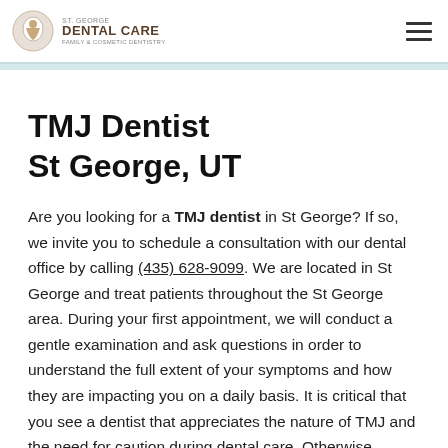ST. GEORGE DENTAL CARE FAMILY & COSMETIC DENTISTRY
TMJ Dentist
St George, UT
Are you looking for a TMJ dentist in St George? If so, we invite you to schedule a consultation with our dental office by calling (435) 628-9099. We are located in St George and treat patients throughout the St George area. During your first appointment, we will conduct a gentle examination and ask questions in order to understand the full extent of your symptoms and how they are impacting you on a daily basis. It is critical that you see a dentist that appreciates the nature of TMJ and the need for caution during dental care. Otherwise,